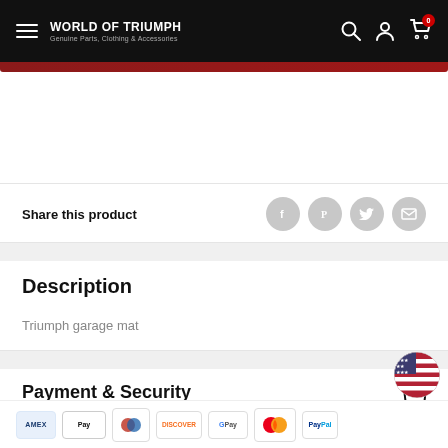WORLD OF TRIUMPH — Genuine Parts, Clothing & Accessories
Share this product
Description
Triumph garage mat
Payment & Security